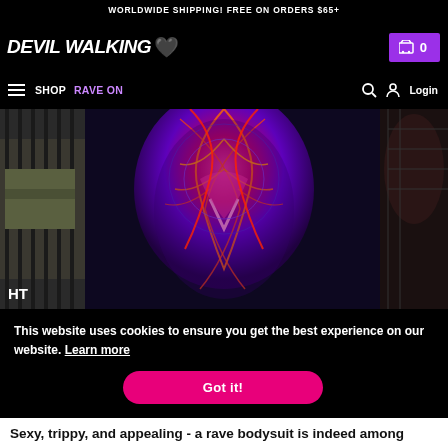WORLDWIDE SHIPPING! FREE ON ORDERS $65+
[Figure (logo): Devil Walking logo with stylized text and red broken heart icon]
[Figure (other): Purple shopping cart icon with number 0 on purple background]
SHOP  RAVE ON  Login
[Figure (photo): Model wearing colorful rave bodysuit with purple/red/orange psychedelic pattern, standing outdoors near a gate]
This website uses cookies to ensure you get the best experience on our website. Learn more
Got it!
Sexy, trippy, and appealing - a rave bodysuit is indeed among